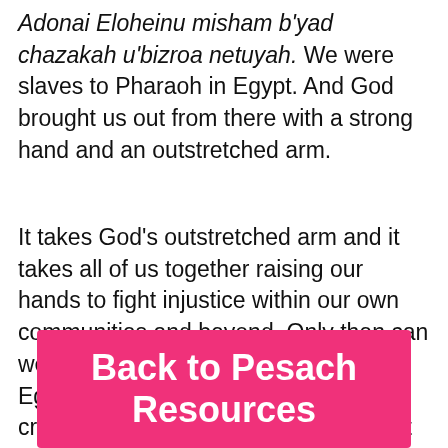Adonai Eloheinu misham b'yad chazakah u'bizroa netuyah. We were slaves to Pharaoh in Egypt. And God brought us out from there with a strong hand and an outstretched arm.
It takes God's outstretched arm and it takes all of us together raising our hands to fight injustice within our own communities and beyond. Only then can we say that we remember leaving Egypt. Only then can we imagine creating a path through the sea so that we may rejoice together on the other side.
Back to Pesach Resources